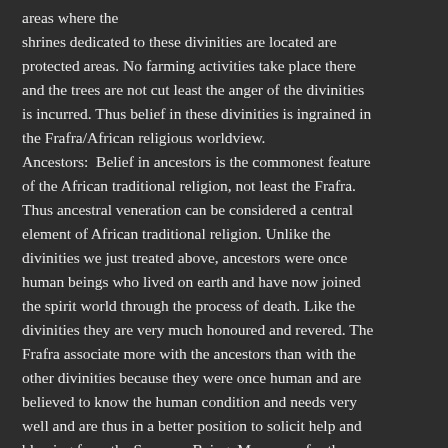areas where the shrines dedicated to these divinities are located are protected areas. No farming activities take place there and the trees are not cut least the anger of the divinities is incurred. Thus belief in these divinities is ingrained in the Frafra/African religious worldview. Ancestors: Belief in ancestors is the commonest feature of the African traditional religion, not least the Frafra. Thus ancestral veneration can be considered a central element of African traditional religion. Unlike the divinities we just treated above, ancestors were once human beings who lived on earth and have now joined the spirit world through the process of death. Like the divinities they are very much honoured and revered. The Frafra associate more with the ancestors than with the other divinities because they were once human and are believed to know the human condition and needs very well and are thus in a better position to solicit help and blessing from the Supreme Being. Moreover, for the